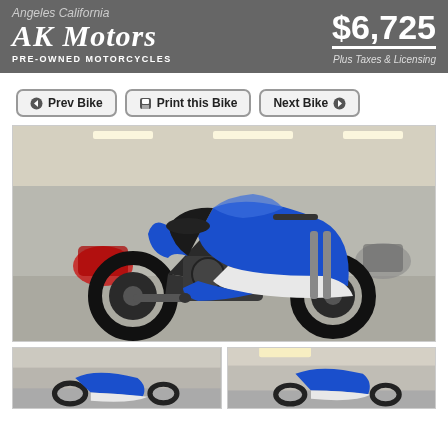Angeles California
AK Motors
PRE-OWNED MOTORCYCLES
$6,725
Plus Taxes & Licensing
Prev Bike
Print this Bike
Next Bike
[Figure (photo): Blue, white, and black sport motorcycle (Suzuki GSX-R style) displayed in a showroom with other motorcycles in the background]
[Figure (photo): Thumbnail photo of motorcycle from different angle, left view]
[Figure (photo): Thumbnail photo of motorcycle from different angle, right view]